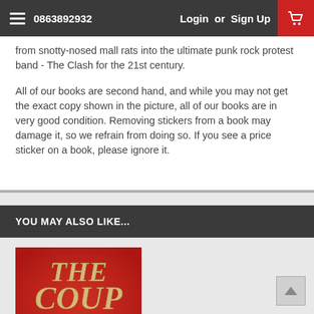0863892932  Login or Sign Up
from snotty-nosed mall rats into the ultimate punk rock protest band - The Clash for the 21st century.
All of our books are second hand, and while you may not get the exact copy shown in the picture, all of our books are in very good condition. Removing stickers from a book may damage it, so we refrain from doing so. If you see a price sticker on a book, please ignore it.
YOU MAY ALSO LIKE...
[Figure (photo): Book cover of 'The Coup and other stories' by Brendan Flood, red background with gold/cream title text]